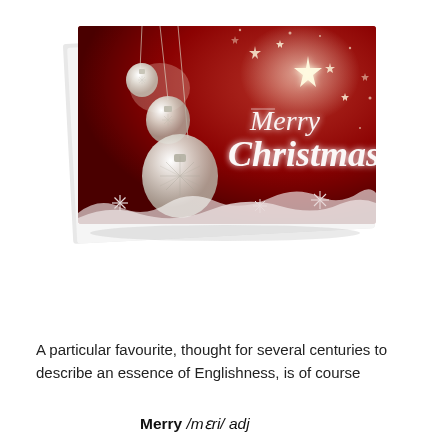[Figure (illustration): A Merry Christmas greeting card with a deep red background featuring white Christmas ornament baubles hanging from strings on the left side, white snowflake decorations along the bottom, sparkling star lights, and cursive white script text reading 'Merry Christmas'. The card is shown slightly angled with a white envelope partially visible behind it.]
A particular favourite, thought for several centuries to describe an essence of Englishness, is of course
Merry /mɛri/ adj